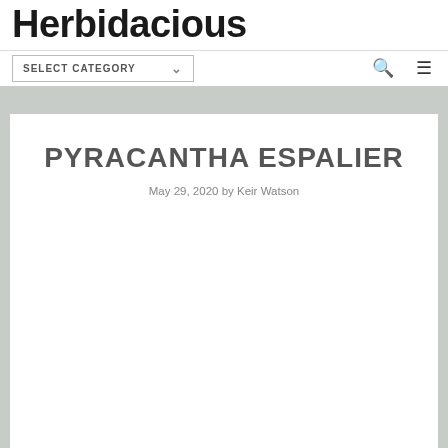Herbidacious
SELECT CATEGORY
PYRACANTHA ESPALIER
May 29, 2020 by Keir Watson